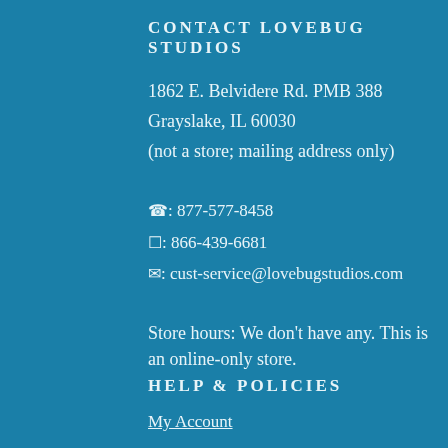CONTACT LOVEBUG STUDIOS
1862 E. Belvidere Rd. PMB 388
Grayslake, IL 60030
(not a store; mailing address only)
☎: 877-577-8458
☐: 866-439-6681
✉: cust-service@lovebugstudios.com
Store hours: We don't have any. This is an online-only store.
HELP & POLICIES
My Account